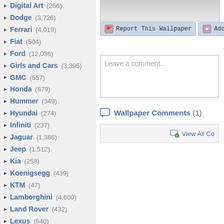Digital Art (266)
Dodge (3,726)
Ferrari (4,019)
Fiat (504)
Ford (12,036)
Girls and Cars (3,395)
GMC (557)
Honda (879)
Hummer (349)
Hyundai (274)
Infiniti (237)
Jaguar (1,386)
Jeep (1,512)
Kia (258)
Koenigsegg (439)
KTM (47)
Lamborghini (4,600)
Land Rover (432)
Lexus (840)
Lincoln (478)
Lotus (495)
Maserati (373)
Mazda (552)
McLaren (755)
Mercedes (2,964)
Mini Cooper (332)
Mitsubishi (517)
Motorcycles (Link)
Nissan (1,497)
Oldsmobile (492)
Report This Wallpaper
Add To F
Leave a comment...
Wallpaper Comments (1)
View All Co